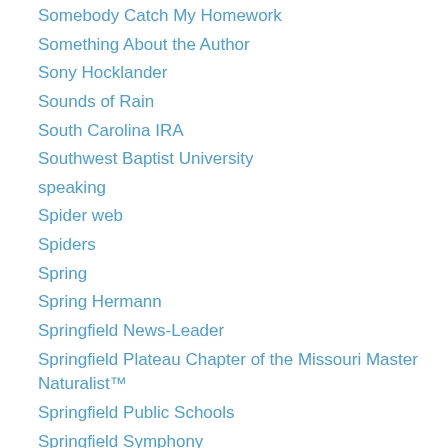Somebody Catch My Homework
Something About the Author
Sony Hocklander
Sounds of Rain
South Carolina IRA
Southwest Baptist University
speaking
Spider web
Spiders
Spring
Spring Hermann
Springfield News-Leader
Springfield Plateau Chapter of the Missouri Master Naturalist™
Springfield Public Schools
Springfield Symphony
Springfield Writers' Guild
Springfield-Greene County Library District
Springfield-Greene County Public Library District
Sprouts
Starting a story